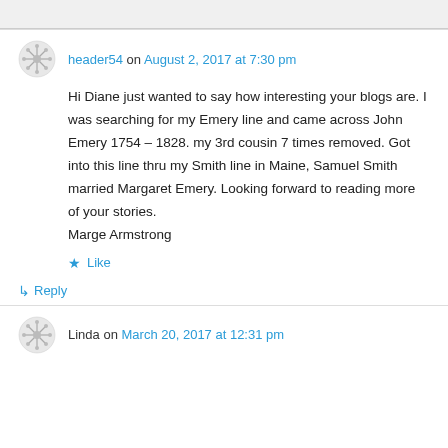header54 on August 2, 2017 at 7:30 pm
Hi Diane just wanted to say how interesting your blogs are. I was searching for my Emery line and came across John Emery 1754 – 1828. my 3rd cousin 7 times removed. Got into this line thru my Smith line in Maine, Samuel Smith married Margaret Emery. Looking forward to reading more of your stories.
Marge Armstrong
Like
Reply
Linda on March 20, 2017 at 12:31 pm